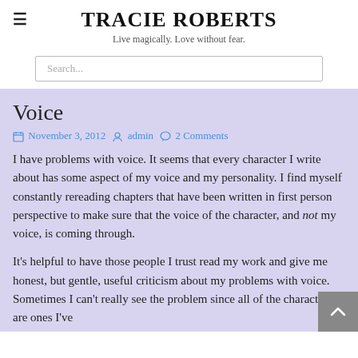TRACIE ROBERTS
Live magically. Love without fear.
Search...
Voice
November 3, 2012  admin  2 Comments
I have problems with voice. It seems that every character I write about has some aspect of my voice and my personality. I find myself constantly rereading chapters that have been written in first person perspective to make sure that the voice of the character, and not my voice, is coming through.
It's helpful to have those people I trust read my work and give me honest, but gentle, useful criticism about my problems with voice. Sometimes I can't really see the problem since all of the characters are ones I've